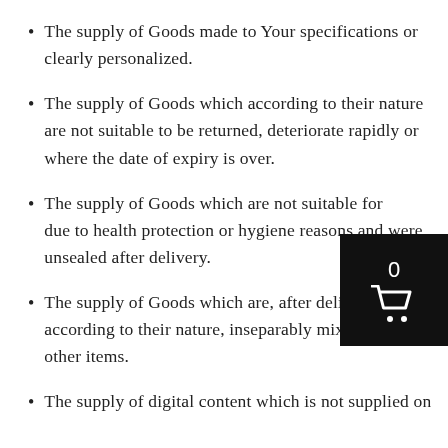The supply of Goods made to Your specifications or clearly personalized.
The supply of Goods which according to their nature are not suitable to be returned, deteriorate rapidly or where the date of expiry is over.
The supply of Goods which are not suitable for [return] due to health protection or hygiene reasons and were unsealed after delivery.
The supply of Goods which are, after delivery, according to their nature, inseparably mixed with other items.
The supply of digital content which is not supplied on